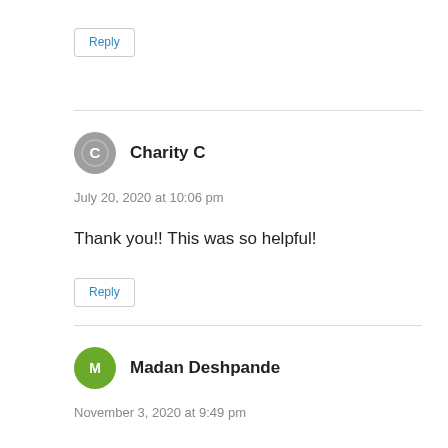Reply
Charity C
July 20, 2020 at 10:06 pm
Thank you!! This was so helpful!
Reply
Madan Deshpande
November 3, 2020 at 9:49 pm